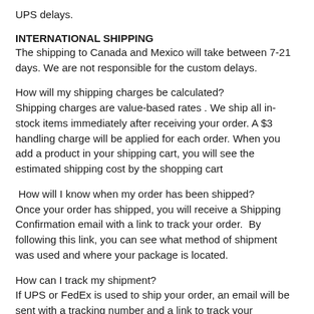UPS delays.
INTERNATIONAL SHIPPING
The shipping to Canada and Mexico will take between 7-21 days. We are not responsible for the custom delays.
How will my shipping charges be calculated?
Shipping charges are value-based rates . We ship all in-stock items immediately after receiving your order. A $3 handling charge will be applied for each order. When you add a product in your shipping cart, you will see the estimated shipping cost by the shopping cart
How will I know when my order has been shipped?
Once your order has shipped, you will receive a Shipping Confirmation email with a link to track your order.  By following this link, you can see what method of shipment was used and where your package is located.
How can I track my shipment?
If UPS or FedEx is used to ship your order, an email will be sent with a tracking number and a link to track your package.  This tracking number can also be entered manually at one of the following web addresses: